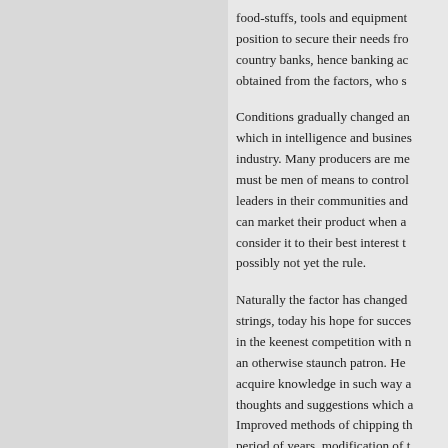food-stuffs, tools and equipment position to secure their needs fro country banks, hence banking ac obtained from the factors, who s
Conditions gradually changed an which in intelligence and busines industry. Many producers are me must be men of means to control leaders in their communities and can market their product when a consider it to their best interest t possibly not yet the rule.
Naturally the factor has changed strings, today his hope for succes in the keenest competition with n an otherwise staunch patron. He acquire knowledge in such way a thoughts and suggestions which a Improved methods of chipping th period of years, modification of t Microscopist, who has exhaustiv stilling methods are taught by th who desires to prove of value to